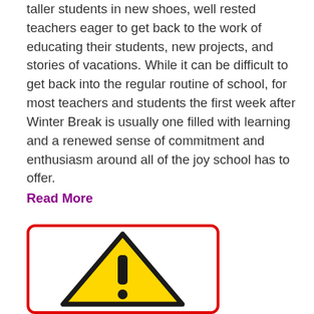taller students in new shoes, well rested teachers eager to get back to the work of educating their students, new projects, and stories of vacations. While it can be difficult to get back into the regular routine of school, for most teachers and students the first week after Winter Break is usually one filled with learning and a renewed sense of commitment and enthusiasm around all of the joy school has to offer.
Read More
[Figure (illustration): Warning sign: a yellow triangle with a thick black border containing a black exclamation mark, displayed inside a red-bordered rounded rectangle.]